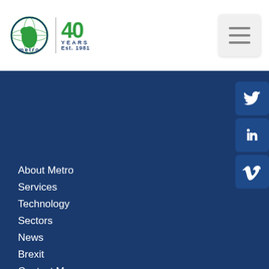[Figure (logo): Metro company logo with globe graphic and '40 Years Est. 1981' anniversary text]
[Figure (other): Hamburger menu button (three horizontal lines) on white background]
[Figure (other): Twitter social media icon button]
[Figure (other): LinkedIn social media icon button]
[Figure (other): Vimeo social media icon button]
About Metro
Services
Technology
Sectors
News
Brexit
Contact Me
Obtain a quote
Data Privacy
Environmental Policy